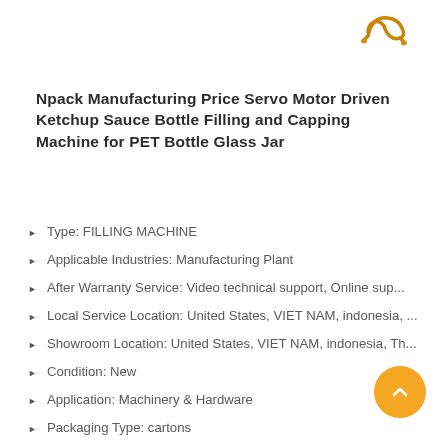[Figure (logo): Gold/yellow stylized logo or icon in top right corner]
Npack Manufacturing Price Servo Motor Driven Ketchup Sauce Bottle Filling and Capping Machine for PET Bottle Glass Jar
Type: FILLING MACHINE
Applicable Industries: Manufacturing Plant
After Warranty Service: Video technical support, Online sup...
Local Service Location: United States, VIET NAM, indonesia, ...
Showroom Location: United States, VIET NAM, indonesia, Th...
Condition: New
Application: Machinery & Hardware
Packaging Type: cartons
Packaging Material: wood
Automatic Grade: Automatic
Driven Type: mechanical
Voltage: 220V
Place of Origin: Shandong, China